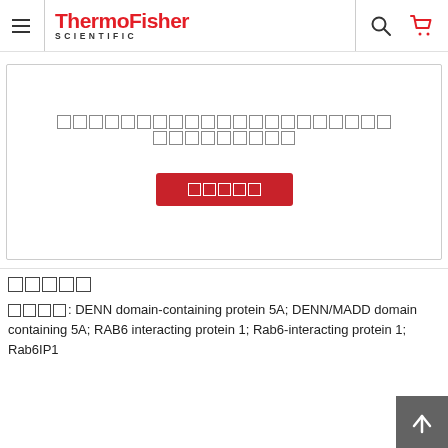ThermoFisher SCIENTIFIC [navigation header with menu, search, and cart icons]
[Figure (screenshot): A white banner box with placeholder/garbled characters arranged in a row representing text, and a red button with garbled characters below]
[garbled placeholder characters representing a section title]
[label boxes]: DENN domain-containing protein 5A; DENN/MADD domain containing 5A; RAB6 interacting protein 1; Rab6-interacting protein 1; Rab6IP1